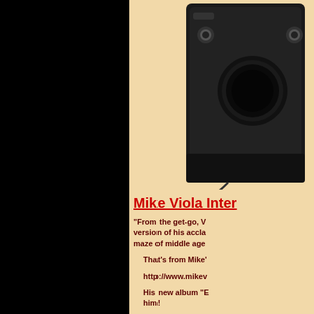[Figure (photo): Black camera or electronic device photographed against white background, shown in right panel on peach/tan background]
Mike Viola Inter
"From the get-go, V version of his accla maze of middle age
That's from Mike'
http://www.mikev
His new album "E him!
Check it out and